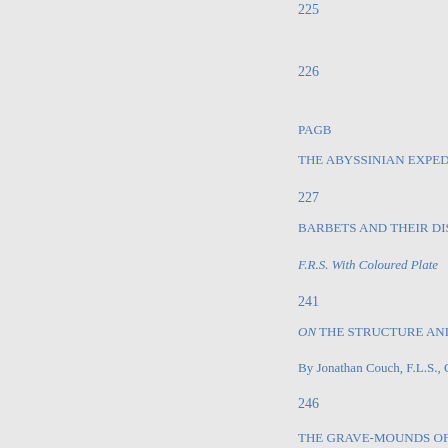225
226
PAGB
THE ABYSSINIAN EXPEDITIO
227
BARBETS AND THEIR DISTR
F.R.S. With Coloured Plate
241
ON THE STRUCTURE AND M
By Jonathan Couch, F.L.S., C.M.
246
THE GRAVE-MOUNDS OF DE
LYNN JEWITT, F.S.A., Etc., Etc
254
THE STRUCTURE OF THE AN
By EDOUARD CLAPAREDE
266
THE LUNAR ERATOSTHENE